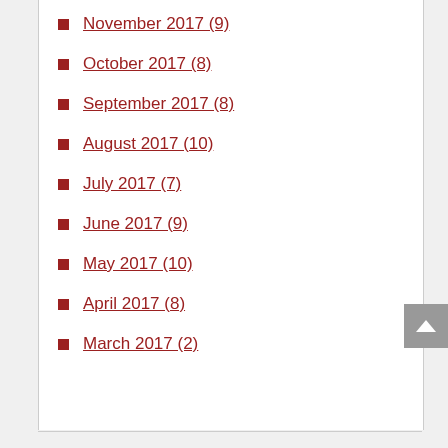November 2017 (9)
October 2017 (8)
September 2017 (8)
August 2017 (10)
July 2017 (7)
June 2017 (9)
May 2017 (10)
April 2017 (8)
March 2017 (2)